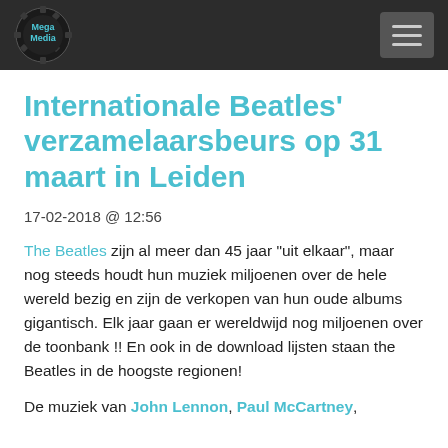Mega Media [logo/navigation header]
Internationale Beatles' verzamelaarsbeurs op 31 maart in Leiden
17-02-2018 @ 12:56
The Beatles zijn al meer dan 45 jaar "uit elkaar", maar nog steeds houdt hun muziek miljoenen over de hele wereld bezig en zijn de verkopen van hun oude albums gigantisch. Elk jaar gaan er wereldwijd nog miljoenen over de toonbank !! En ook in de download lijsten staan the Beatles in de hoogste regionen!
De muziek van John Lennon, Paul McCartney,